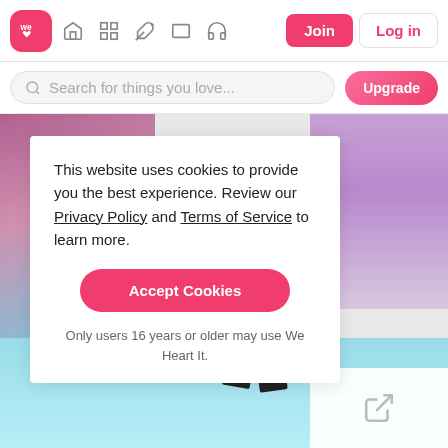[Figure (screenshot): We Heart It navigation bar with logo, icons, Join and Log in buttons]
[Figure (screenshot): Search bar with placeholder text and Upgrade button]
This website uses cookies to provide you the best experience. Review our Privacy Policy and Terms of Service to learn more.
Accept Cookies
Only users 16 years or older may use We Heart It.